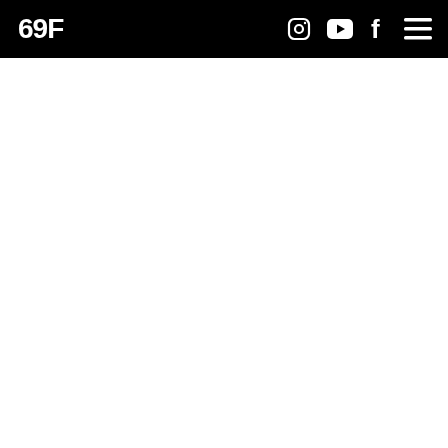69F
[Figure (other): White content area below the navigation bar, empty white page body]